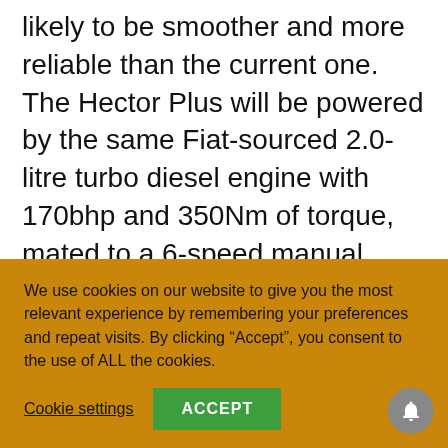likely to be smoother and more reliable than the current one. The Hector Plus will be powered by the same Fiat-sourced 2.0-litre turbo diesel engine with 170bhp and 350Nm of torque, mated to a 6-speed manual transmission. The Hector Plus will also offer the 1.5-litre turbo petrol motor with the mild-hybrid system with a DCT automatic transmission as well apart from the manual.
We use cookies on our website to give you the most relevant experience by remembering your preferences and repeat visits. By clicking “Accept”, you consent to the use of ALL the cookies.
Cookie settings
ACCEPT